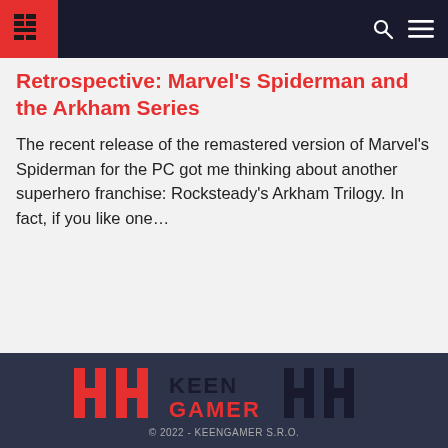Keen Gamer — navigation header with logo, search, and menu icons
Retrospective: Marvel's Spiderman and the Arkham Series
The recent release of the remastered version of Marvel's Spiderman for the PC got me thinking about another superhero franchise: Rocksteady's Arkham Trilogy. In fact, if you like one…
[Figure (logo): Keen Gamer logo with stylized HH mark in red and dark, and KEEN GAMER text]
© 2022 - KEENGAMER S.R.O.